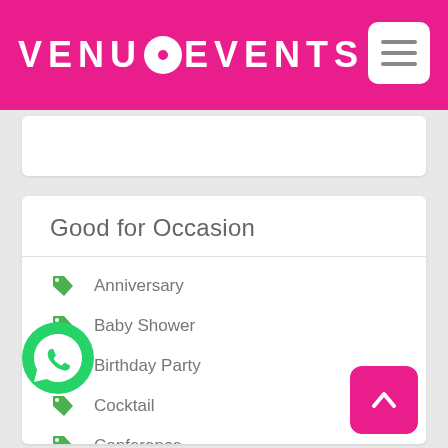VENUE EVENTS
Good for Occasion
Anniversary
Baby Shower
Birthday Party
Cocktail
Conference
Convention
Corporate Party
Destination Wedding
Exhibition
Kitty Party